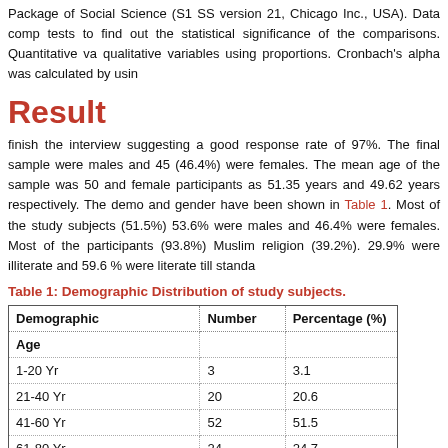Package of Social Science (S1 SS version 21, Chicago Inc., USA). Data comp tests to find out the statistical significance of the comparisons. Quantitative va qualitative variables using proportions. Cronbach's alpha was calculated by usin
Result
finish the interview suggesting a good response rate of 97%. The final sample were males and 45 (46.4%) were females. The mean age of the sample was 50 and female participants as 51.35 years and 49.62 years respectively. The demo and gender have been shown in Table 1. Most of the study subjects (51.5%) 53.6% were males and 46.4% were females. Most of the participants (93.8%) Muslim religion (39.2%). 29.9% were illiterate and 59.6 % were literate till standa
Table 1: Demographic Distribution of study subjects.
| Demographic | Number | Percentage (%) |
| --- | --- | --- |
| Age |  |  |
| 1-20 Yr | 3 | 3.1 |
| 21-40 Yr | 20 | 20.6 |
| 41-60 Yr | 52 | 51.5 |
| 61-80 Yr | 24 | 24.7 |
| Mean Age |  |  |
| Male | 51.35 Yr |  |